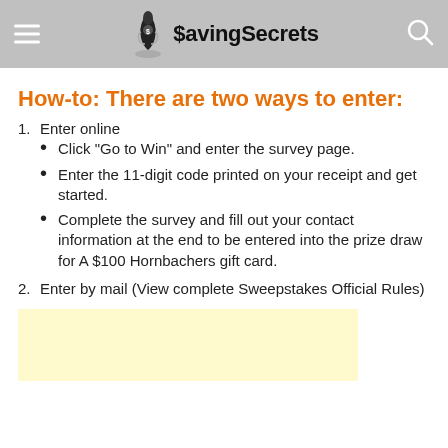SavingSecrets
How-to: There are two ways to enter:
1. Enter online
Click "Go to Win" and enter the survey page.
Enter the 11-digit code printed on your receipt and get started.
Complete the survey and fill out your contact information at the end to be entered into the prize draw for A $100 Hornbachers gift card.
2. Enter by mail (View complete Sweepstakes Official Rules)
[Figure (other): Light yellow advertisement box placeholder]